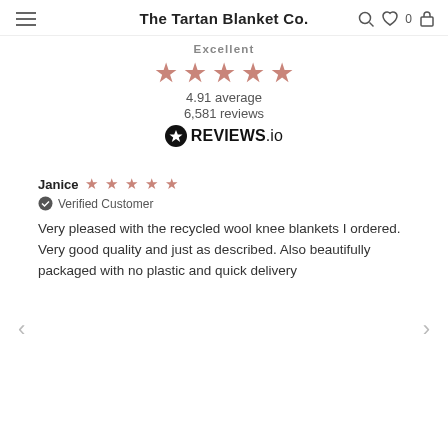The Tartan Blanket Co.
Excellent
[Figure (other): Five pink/rose star rating icons]
4.91 average
6,581 reviews
[Figure (logo): REVIEWS.io logo with black circle star icon]
Janice ★★★★★ Verified Customer
Very pleased with the recycled wool knee blankets I ordered. Very good quality and just as described. Also beautifully packaged with no plastic and quick delivery